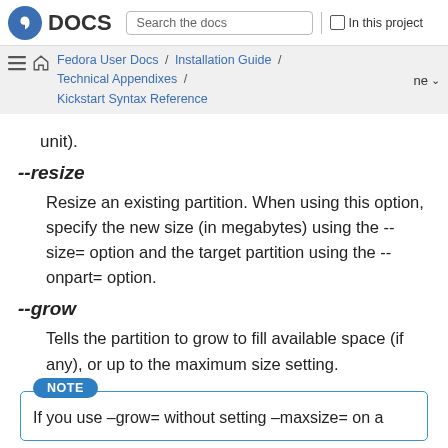Fedora DOCS | Search the docs | In this project
Fedora User Docs / Installation Guide / Technical Appendixes / Kickstart Syntax Reference
unit).
--resize
Resize an existing partition. When using this option, specify the new size (in megabytes) using the --size= option and the target partition using the --onpart= option.
--grow
Tells the partition to grow to fill available space (if any), or up to the maximum size setting.
NOTE
If you use --grow= without setting --maxsize= on a partition, Anaconda will limit the maximum size...